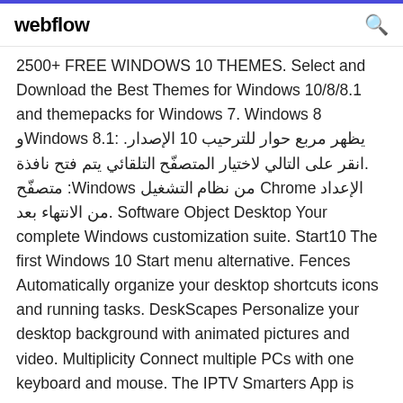webflow
2500+ FREE WINDOWS 10 THEMES. Select and Download the Best Themes for Windows 10/8/8.1 and themepacks for Windows 7. Windows 8 وWindows 8.1: .يظهر مربع حوار للترحيب 10 الإصدار .انقر على التالي لاختيار المتصفّح التلقائي يتم فتح نافذة متصفّح :Windows من نظام التشغيل Chrome الإعداد من الانتهاء بعد. Software Object Desktop Your complete Windows customization suite. Start10 The first Windows 10 Start menu alternative. Fences Automatically organize your desktop shortcuts icons and running tasks. DeskScapes Personalize your desktop background with animated pictures and video. Multiplicity Connect multiple PCs with one keyboard and mouse. The IPTV Smarters App is